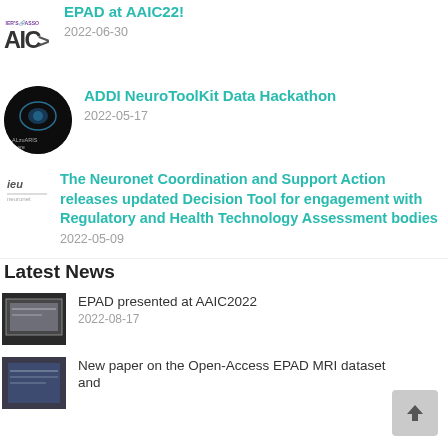EPAD at AAIC22!
2022-06-30
ADDI NeuroToolKit Data Hackathon
2022-05-17
The Neuronet Coordination and Support Action releases updated Decision Tool for engagement with Regulatory and Health Technology Assessment bodies
2022-05-09
Latest News
EPAD presented at AAIC2022
2022-08-17
New paper on the Open-Access EPAD MRI dataset and